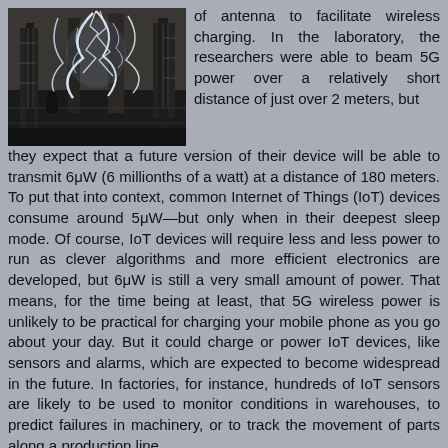[Figure (photo): Black and white photograph of a large electrical laboratory with dramatic lightning/electrical arcs, possibly a Tesla coil experiment, with a person sitting in the background.]
of antenna to facilitate wireless charging. In the laboratory, the researchers were able to beam 5G power over a relatively short distance of just over 2 meters, but they expect that a future version of their device will be able to transmit 6μW (6 millionths of a watt) at a distance of 180 meters. To put that into context, common Internet of Things (IoT) devices consume around 5μW—but only when in their deepest sleep mode. Of course, IoT devices will require less and less power to run as clever algorithms and more efficient electronics are developed, but 6μW is still a very small amount of power. That means, for the time being at least, that 5G wireless power is unlikely to be practical for charging your mobile phone as you go about your day. But it could charge or power IoT devices, like sensors and alarms, which are expected to become widespread in the future. In factories, for instance, hundreds of IoT sensors are likely to be used to monitor conditions in warehouses, to predict failures in machinery, or to track the movement of parts along a production line.